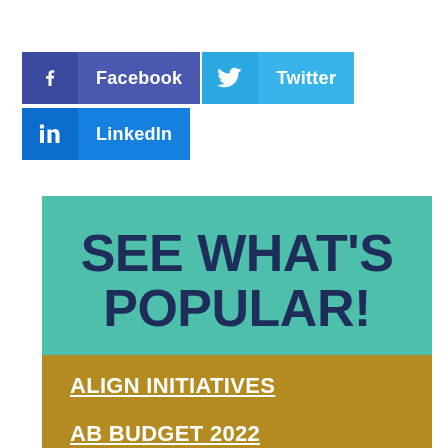[Figure (other): Social media share buttons: Facebook, Twitter, LinkedIn]
[Figure (infographic): Promotional banner with teal header 'SEE WHAT'S POPULAR!' and gold section with links 'ALIGN INITIATIVES' and 'AB BUDGET 2022']